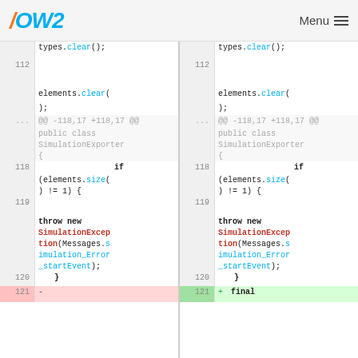OW2 Menu
[Figure (screenshot): Side-by-side diff view of Java code showing changes in SimulationExporter class. Left panel shows original, right panel shows modified. Lines 112-121 are visible. Line 121 shows a deletion on left (marked with '-') and an addition 'final' on right (marked with '+', highlighted green).]